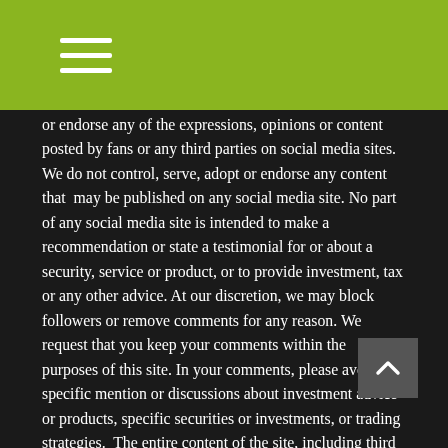or endorse any of the expressions, opinions or content posted by fans or any third parties on social media sites. We do not control, serve, adopt or endorse any content that may be published on any social media site. No part of any social media site is intended to make a recommendation or state a testimonial for or about a security, service or product, or to provide investment, tax or any other advice. At our discretion, we may block followers or remove comments for any reason. We request that you keep your comments within the purposes of this site. In your comments, please avoid specific mention or discussions about investment advice or products, specific securities or investments, or trading strategies. The entire content of the site, including third party posts, is archived by the broker-dealer to comply with securities regulations.
It is up to you to read and understand the privacy policies and